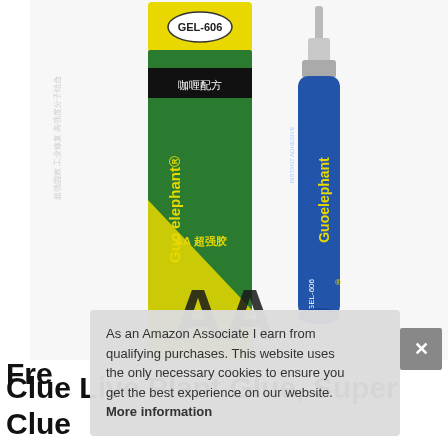[Figure (photo): Product photo showing two Guo Elephant AA GEL-606 super glue items: a green and yellow rectangular box packaging on the left, and a blue tube (the actual glue applicator) with a thin nozzle on the right. Chinese text and branding visible on both.]
As an Amazon Associate I earn from qualifying purchases. This website uses the only necessary cookies to ensure you get the best experience on our website. More information
Fre
Clue Live Plant Glue, Super Clue